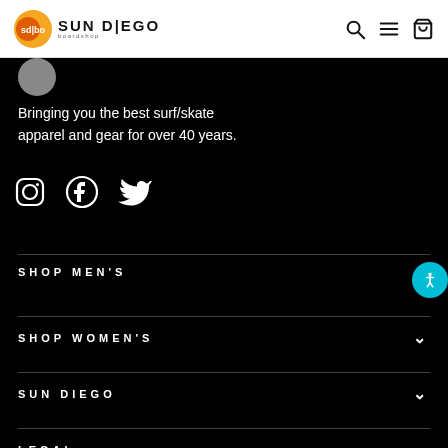SUN DIEGO boardshop
[Figure (logo): Sun Diego Boardshop logo with orange/yellow circular emblem and bold text SUN DIEGO with sub-label boardshop]
Bringing you the best surf/skate apparel and gear for over 40 years.
[Figure (infographic): Three social media icons: Instagram, Facebook, Twitter (white outlines on black background)]
SHOP MEN'S
SHOP WOMEN'S
SUN DIEGO
LEGAL